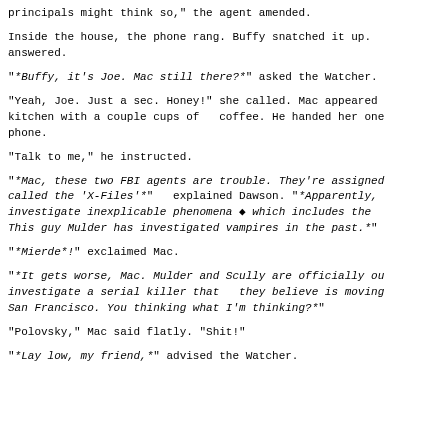principals might think so," the agent amended.
Inside the house, the phone rang. Buffy snatched it up. answered.
"*Buffy, it's Joe. Mac still there?*" asked the Watcher.
"Yeah, Joe. Just a sec. Honey!" she called. Mac appeared kitchen with a couple cups of   coffee. He handed her one phone.
"Talk to me," he instructed.
"*Mac, these two FBI agents are trouble. They're assigned called the 'X-Files'*"   explained Dawson. "*Apparently, investigate inexplicable phenomena ◆ which includes the This guy Mulder has investigated vampires in the past.*"
"*Mierde*!" exclaimed Mac.
"*It gets worse, Mac. Mulder and Scully are officially ou investigate a serial killer that   they believe is moving San Francisco. You thinking what I'm thinking?*"
"Polovsky," Mac said flatly. "Shit!"
"*Lay low, my friend,*" advised the Watcher.